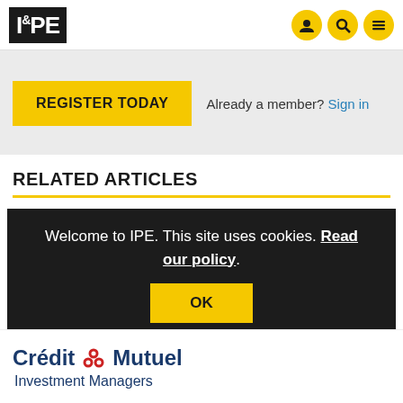IPE
Intelligence.
REGISTER TODAY  Already a member? Sign in
RELATED ARTICLES
Welcome to IPE. This site uses cookies. Read our policy.
OK
[Figure (logo): Crédit Mutuel Investment Managers logo]